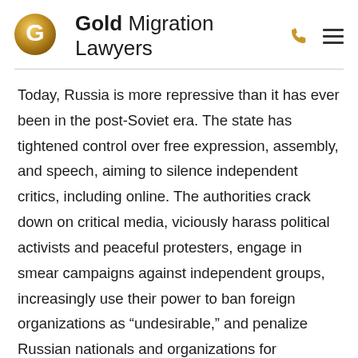Gold Migration Lawyers
Today, Russia is more repressive than it has ever been in the post-Soviet era. The state has tightened control over free expression, assembly, and speech, aiming to silence independent critics, including online. The authorities crack down on critical media, viciously harass political activists and peaceful protesters, engage in smear campaigns against independent groups, increasingly use their power to ban foreign organizations as “undesirable,” and penalize Russian nationals and organizations for supposed involvement with them. Chechen authorities are waging their war on human rights